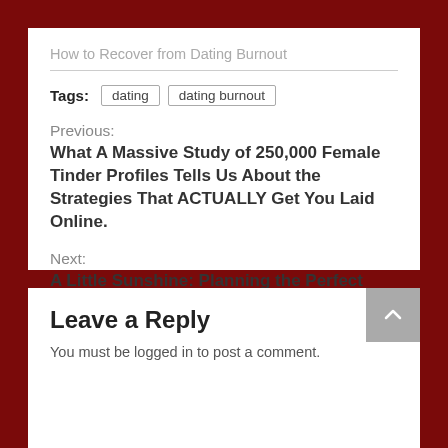How to Recover from Dating Burnout
Tags: dating  dating burnout
Previous:
What A Massive Study of 250,000 Female Tinder Profiles Tells Us About the Strategies That ACTUALLY Get You Laid Online.
Next:
A Little Sunshine: Planning the Perfect Date Outdoors
Leave a Reply
You must be logged in to post a comment.